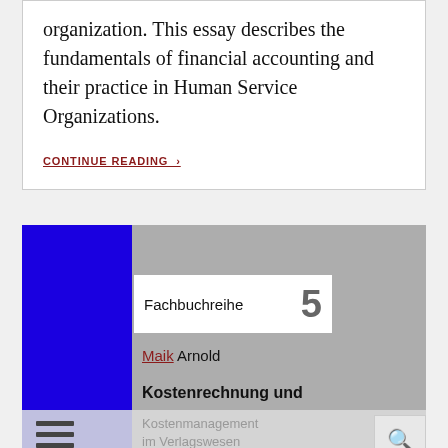organization. This essay describes the fundamentals of financial accounting and their practice in Human Service Organizations.
CONTINUE READING ›
[Figure (illustration): Book cover image showing a blue left column and gray background with 'Fachbuchreihe 5' in a white box, author name 'Maik Arnold', and title 'Kostenrechnung und Kostenmanagement im Verlagswesen Buchrückkalkulation, Buchkalkulation' text. Bottom shows a hamburger menu icon and search icon.]